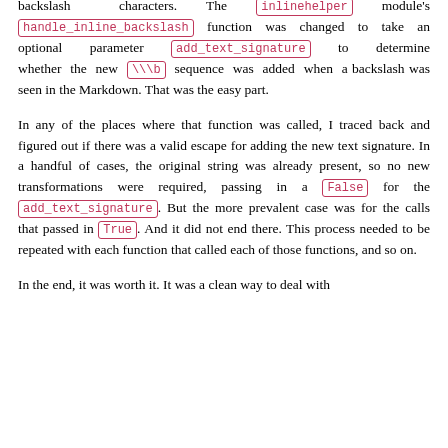backslash characters. The inlinehelper module's handle_inline_backslash function was changed to take an optional parameter add_text_signature to determine whether the new \\b sequence was added when a backslash was seen in the Markdown. That was the easy part.
In any of the places where that function was called, I traced back and figured out if there was a valid escape for adding the new text signature. In a handful of cases, the original string was already present, so no new transformations were required, passing in a False for the add_text_signature. But the more prevalent case was for the calls that passed in True. And it did not end there. This process needed to be repeated with each function that called each of those functions, and so on.
In the end, it was worth it. It was a clean way to deal with